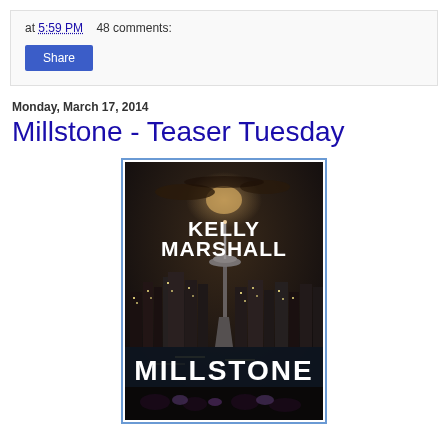at 5:59 PM   48 comments:
Share
Monday, March 17, 2014
Millstone - Teaser Tuesday
[Figure (illustration): Book cover for 'Millstone' by Kelly Marshall. Dark background showing Seattle skyline with Space Needle at night. Author name 'KELLY MARSHALL' at top in white bold text, title 'MILLSTONE' at bottom in white bold text.]